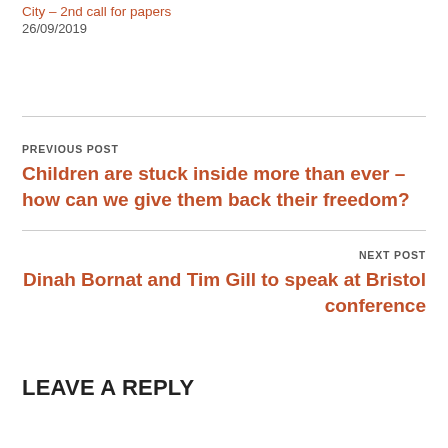City – 2nd call for papers
26/09/2019
PREVIOUS POST
Children are stuck inside more than ever – how can we give them back their freedom?
NEXT POST
Dinah Bornat and Tim Gill to speak at Bristol conference
LEAVE A REPLY